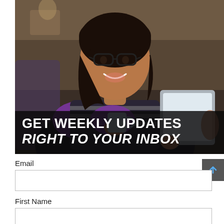[Figure (photo): A smiling young woman wearing glasses and a striped sweater with purple sleeves, holding a coffee mug and a tablet, sitting in a café setting. Overlaid at the bottom is a dark banner with text: 'GET WEEKLY UPDATES' (bold white uppercase) and 'RIGHT TO YOUR INBOX' (bold italic white uppercase).]
Email
First Name